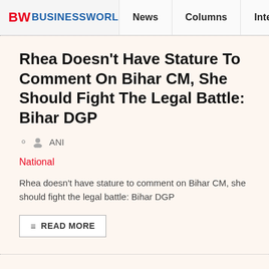BW BUSINESSWORLD | News | Columns | Interviews | BW
Rhea Doesn't Have Stature To Comment On Bihar CM, She Should Fight The Legal Battle: Bihar DGP
ANI
National
Rhea doesn't have stature to comment on Bihar CM, she should fight the legal battle: Bihar DGP
READ MORE
No Case Registered Against Bihar Police Officers In Mumbai: DGP Gupteshwar Pandey
ANI